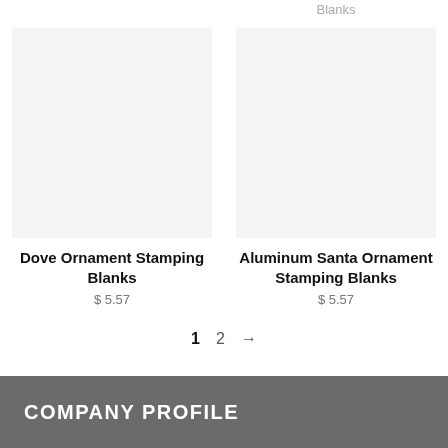Blanks
Dove Ornament Stamping Blanks
$ 5.57
Aluminum Santa Ornament Stamping Blanks
$ 5.57
1  2  →
COMPANY PROFILE